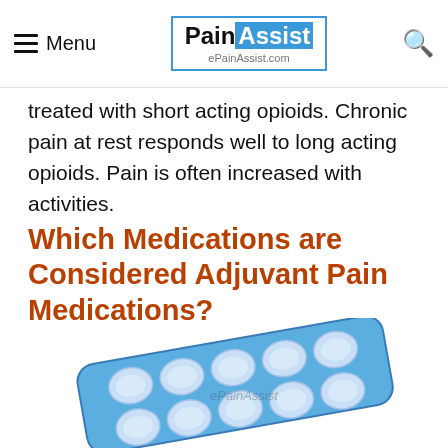Menu | PainAssist | ePainAssist.com
treated with short acting opioids. Chronic pain at rest responds well to long acting opioids. Pain is often increased with activities.
Which Medications are Considered Adjuvant Pain Medications?
[Figure (photo): Blue blister pack of round white/light-blue tablets (pills), shown at an angle. Watermark reads 'ePainAssist' across the center.]